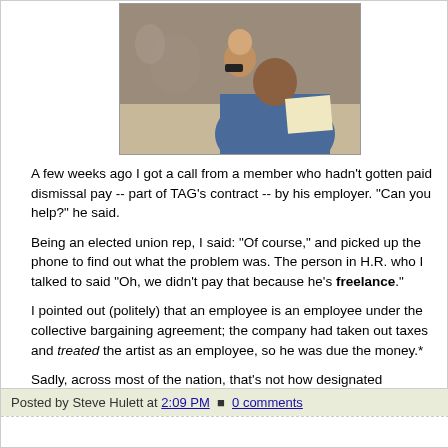[Figure (photo): A person holding a baby while talking on the phone and looking at papers at a desk.]
A few weeks ago I got a call from a member who hadn't gotten paid dismissal pay -- part of TAG's contract -- by his employer. "Can you help?" he said.
Being an elected union rep, I said: "Of course," and picked up the phone to find out what the problem was. The person in H.R. who I talked to said "Oh, we didn't pay that because he's freelance."
I pointed out (politely) that an employee is an employee under the collective bargaining agreement; the company had taken out taxes and treated the artist as an employee, so he was due the money.*
Sadly, across most of the nation, that's not how designated "freelancers" get treated:
Click here to read entire post
Posted by Steve Hulett at 2:09 PM  0 comments